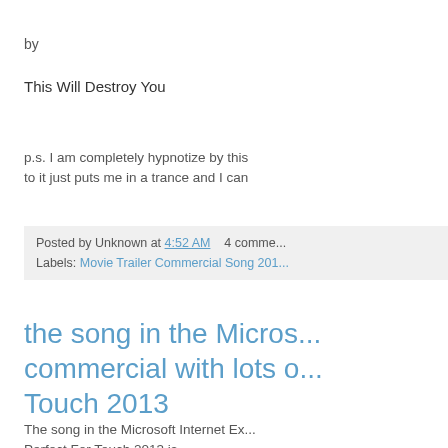by
This Will Destroy You
p.s. I am completely hypnotize by this to it just puts me in a trance and I can
Posted by Unknown at 4:52 AM    4 comme... Labels: Movie Trailer Commercial Song 201...
the song in the Micros... commercial with lots o... Touch 2013
The song in the Microsoft Internet Ex... Perfect For Touch 2013 is